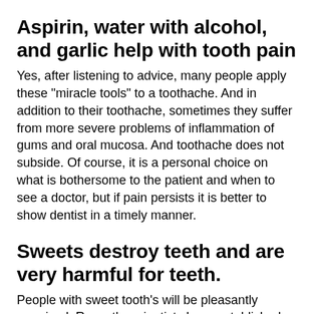Aspirin, water with alcohol, and garlic help with tooth pain
Yes, after listening to advice, many people apply these "miracle tools" to a toothache. And in addition to their toothache, sometimes they suffer from more severe problems of inflammation of gums and oral mucosa. And toothache does not subside. Of course, it is a personal choice on what is bothersome to the patient and when to see a doctor, but if pain persists it is better to show dentist in a timely manner.
Sweets destroy teeth and are very harmful for teeth.
People with sweet tooth's will be pleasantly surprised. Recently, scientists have established that dark chocolate with a high percentage of cocoa is